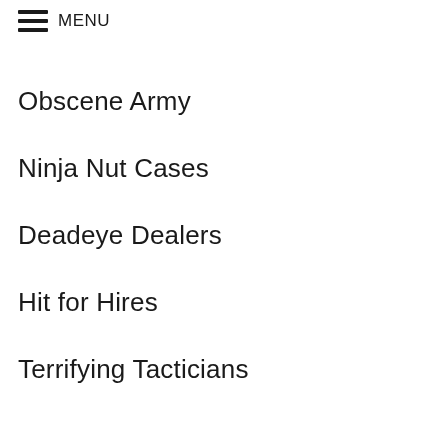MENU
Obscene Army
Ninja Nut Cases
Deadeye Dealers
Hit for Hires
Terrifying Tacticians